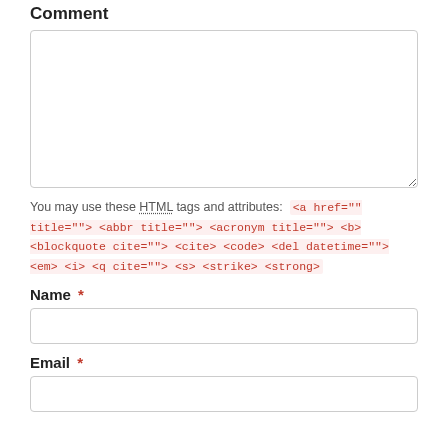Comment
You may use these HTML tags and attributes: <a href="" title=""> <abbr title=""> <acronym title=""> <b> <blockquote cite=""> <cite> <code> <del datetime=""> <em> <i> <q cite=""> <s> <strike> <strong>
Name *
Email *